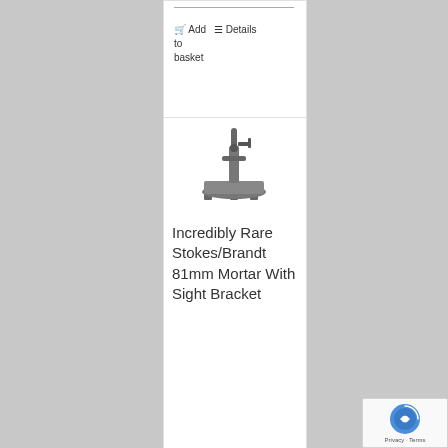Add to basket   Details
[Figure (photo): Small metallic antique mortar baseplate with sight bracket on white background]
Incredibly Rare Stokes/Brandt 81mm Mortar With Sight Bracket